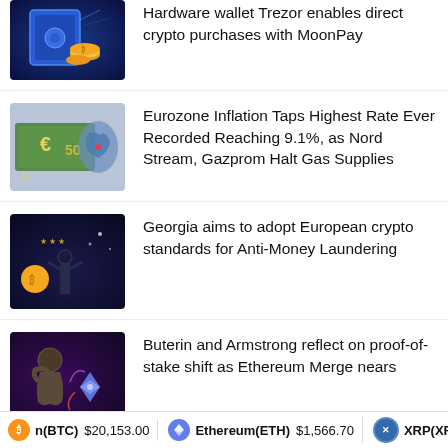Hardware wallet Trezor enables direct crypto purchases with MoonPay
Eurozone Inflation Taps Highest Rate Ever Recorded Reaching 9.1%, as Nord Stream, Gazprom Halt Gas Supplies
Georgia aims to adopt European crypto standards for Anti-Money Laundering
Buterin and Armstrong reflect on proof-of-stake shift as Ethereum Merge nears
Potential Bitcoin price double-bottom could
n(BTC) $20,153.00  Ethereum(ETH) $1,566.70  XRP(XRP) $